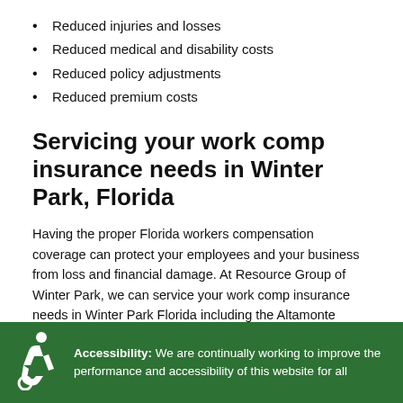Reduced injuries and losses
Reduced medical and disability costs
Reduced policy adjustments
Reduced premium costs
Servicing your work comp insurance needs in Winter Park, Florida
Having the proper Florida workers compensation coverage can protect your employees and your business from loss and financial damage. At Resource Group of Winter Park, we can service your work comp insurance needs in Winter Park Florida including the Altamonte Springs, Maitland, Orlando, Oviedo, and Winter Springs areas.
Accessibility: We are continually working to improve the performance and accessibility of this website for all